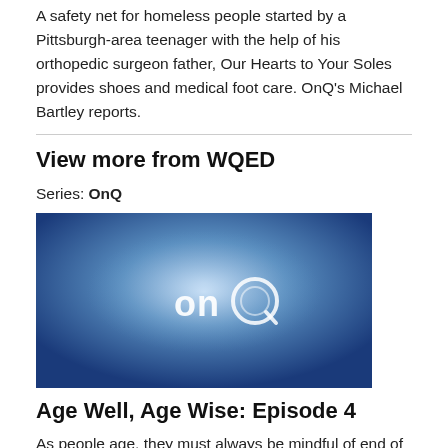A safety net for homeless people started by a Pittsburgh-area teenager with the help of his orthopedic surgeon father, Our Hearts to Your Soles provides shoes and medical foot care. OnQ's Michael Bartley reports.
View more from WQED
Series: OnQ
[Figure (photo): Thumbnail image of the OnQ series with blue gradient background and 'onQ' logo text in white/light color]
Age Well, Age Wise: Episode 4
As people age, they must always be mindful of end of life decisions.  Not only about your will, but also what happens if you cannot make medical decisions on your own?  When are you eligible for hospice care? OnQ